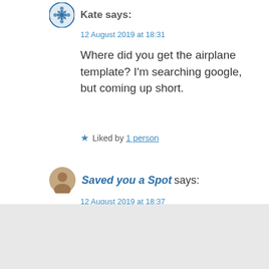Kate says:
12 August 2019 at 18:31
Where did you get the airplane template? I'm searching google, but coming up short.
Liked by 1 person
Saved you a Spot says:
12 August 2019 at 18:37
Hi Kate, I did it myself without a template. Fold a piece of black card in half and then draw half the airplane shape on one side so that when you unfold it opens up into a plane, this
Advertisements